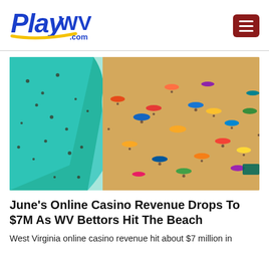PlayWV.com
[Figure (photo): Aerial view of a crowded beach with colorful umbrellas and people swimming in turquoise water]
June's Online Casino Revenue Drops To $7M As WV Bettors Hit The Beach
West Virginia online casino revenue hit about $7 million in